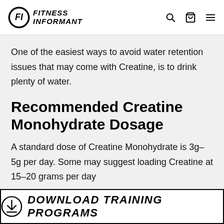FITNESS INFORMANT
One of the easiest ways to avoid water retention issues that may come with Creatine, is to drink plenty of water.
Recommended Creatine Monohydrate Dosage
A standard dose of Creatine Monohydrate is 3g-5g per day. Some may suggest loading Creatine at 15-20 grams per day
[Figure (other): Download Training Programs banner with download icon]